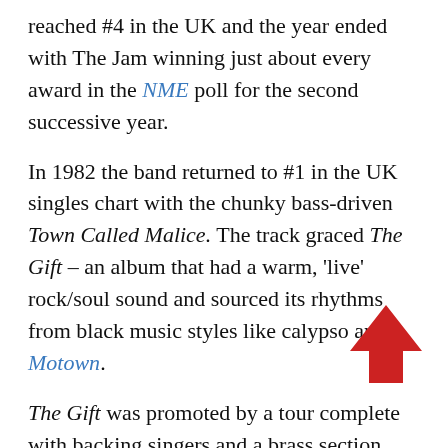reached #4 in the UK and the year ended with The Jam winning just about every award in the NME poll for the second successive year.
In 1982 the band returned to #1 in the UK singles chart with the chunky bass-driven Town Called Malice. The track graced The Gift – an album that had a warm, 'live' rock/soul sound and sourced its rhythms from black music styles like calypso and Motown.
The Gift was promoted by a tour complete with backing singers and a brass section, but that was to be the end of the line: Foxton and Buckler were informed by Weller in June 1982 that he was leaving the group.
Appropriately the next single released was the intentionally trite love song The Bitterest Pill. A lengthy farewell tour followed, and The Jam's final single, Beat Surrender entered the UK chart at #1, coinciding with the
[Figure (illustration): Red upward-pointing arrow icon in the bottom right area of the page]